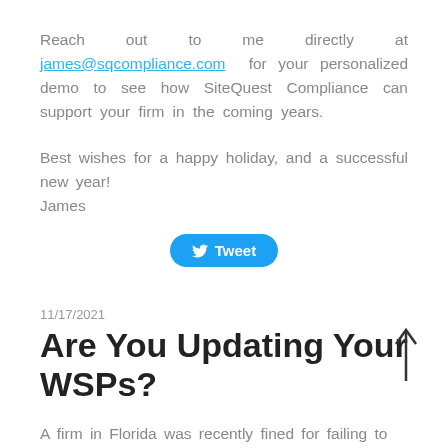Reach out to me directly at james@sqcompliance.com for your personalized demo to see how SiteQuest Compliance can support your firm in the coming years.
Best wishes for a happy holiday, and a successful new year!
James
[Figure (other): Tweet button with Twitter bird icon]
11/17/2021
Are You Updating Your WSPs?
A firm in Florida was recently fined for failing to